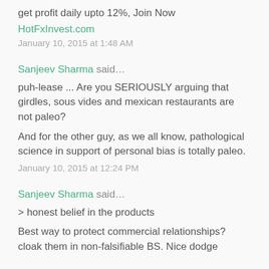get profit daily upto 12%, Join Now
HotFxInvest.com
January 10, 2015 at 1:48 AM
Sanjeev Sharma said…
puh-lease ... Are you SERIOUSLY arguing that girdles, sous vides and mexican restaurants are not paleo?
And for the other guy, as we all know, pathological science in support of personal bias is totally paleo.
January 10, 2015 at 12:24 PM
Sanjeev Sharma said…
> honest belief in the products
Best way to protect commercial relationships? cloak them in non-falsifiable BS. Nice dodge